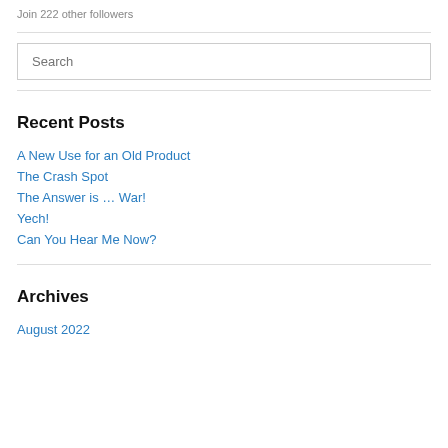Join 222 other followers
Recent Posts
A New Use for an Old Product
The Crash Spot
The Answer is … War!
Yech!
Can You Hear Me Now?
Archives
August 2022